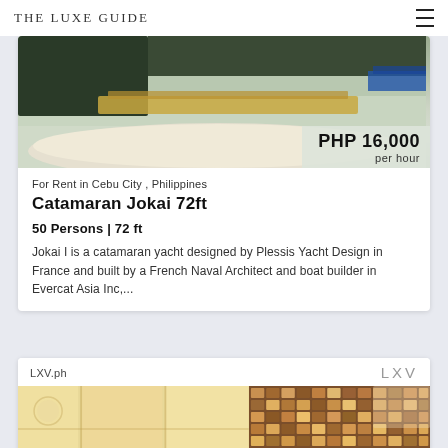The Luxe Guide
[Figure (photo): Catamaran yacht photo showing hull and deck from above, with gray-green water background]
PHP 16,000 per hour
For Rent in Cebu City , Philippines
Catamaran Jokai 72ft
50 Persons | 72 ft
Jokai I is a catamaran yacht designed by Plessis Yacht Design in France and built by a French Naval Architect and boat builder in Evercat Asia Inc,...
LXV.ph
[Figure (photo): Interior photos of a luxury property showing light wood paneling on left and mosaic tile wall on right]